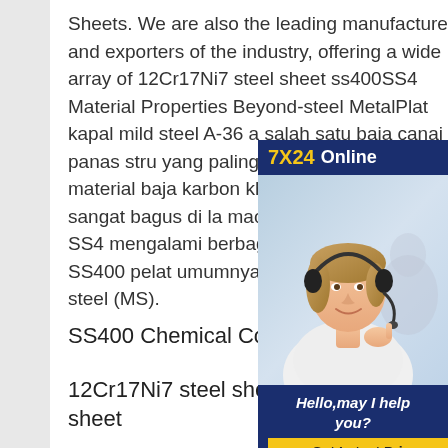Sheets. We are also the leading manufacturers and exporters of the industry, offering a wide array of 12Cr17Ni7 steel sheet ss400SS4 Material Properties Beyond-steel MetalPlat kapal mild steel A-36 a salah satu baja canai panas stru yang paling umum digunakan. Ti material baja karbon khas, harg relatif murah, sangat bagus di la machining dan material baja SS4 mengalami berbagai perlakuan p Baja SS400 pelat umumnya dise dengan plat mild steel (MS).
[Figure (illustration): Customer service chat widget with '7X24 Online' header in dark blue with yellow text, photo of a smiling woman with headset, and 'Hello, may I help you?' message with 'Get Latest Price' yellow button]
SS400 Chemical Composition,SS400
12Cr17Ni7 steel sheet ss400 - steel-plate-sheet